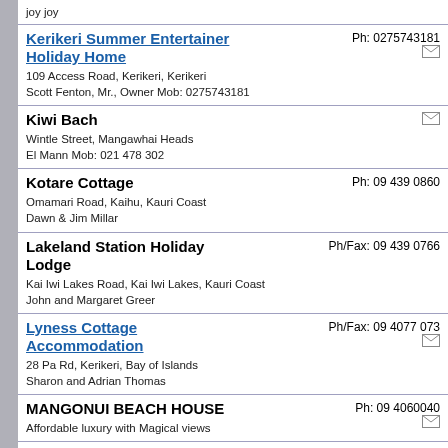joy joy
Kerikeri Summer Entertainer Holiday Home
109 Access Road, Kerikeri, Kerikeri
Scott Fenton, Mr., Owner Mob: 0275743181
Ph: 0275743181
Kiwi Bach
Wintle Street, Mangawhai Heads
El Mann Mob: 021 478 302
Kotare Cottage
Omamari Road, Kaihu, Kauri Coast
Dawn & Jim Millar
Ph: 09 439 0860
Lakeland Station Holiday Lodge
Kai Iwi Lakes Road, Kai Iwi Lakes, Kauri Coast
John and Margaret Greer
Ph/Fax: 09 439 0766
Lyness Cottage Accommodation
28 Pa Rd, Kerikeri, Bay of Islands
Sharon and Adrian Thomas
Ph/Fax: 09 4077 073
MANGONUI BEACH HOUSE
Affordable luxury with Magical views
Ph: 09 4060040